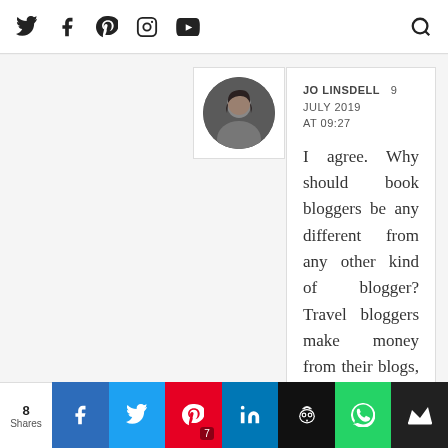Social media icons: Twitter, Facebook, Pinterest, Instagram, YouTube, Search
[Figure (photo): Circular profile photo of Jo Linsdell, a woman with dark hair]
JO LINSDELL   9 JULY 2019 AT 09:27
I agree. Why should book bloggers be any different from any other kind of blogger? Travel bloggers make money from their blogs, often get free or discounted services in exchange for reviews, and monetize their blogs
8 Shares | Facebook | Twitter | Pinterest 7 | LinkedIn | Hootsuite | WhatsApp | Crown